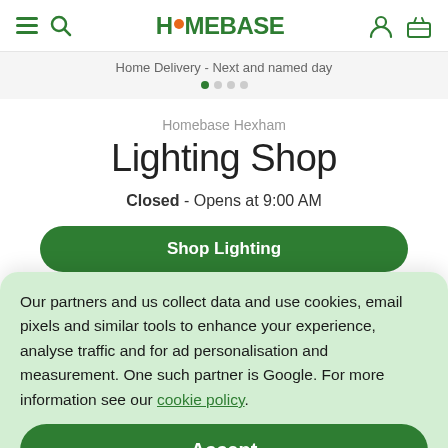HOMEBASE
Home Delivery - Next and named day
Homebase Hexham
Lighting Shop
Closed - Opens at 9:00 AM
Shop Lighting
Our partners and us collect data and use cookies, email pixels and similar tools to enhance your experience, analyse traffic and for ad personalisation and measurement. One such partner is Google. For more information see our cookie policy.
Accept